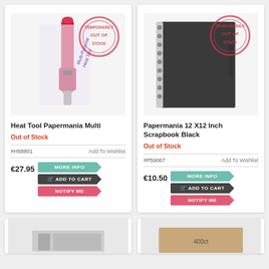[Figure (photo): Heat tool Papermania Multi product image with 'Temporarily Out of Stock' stamp overlay]
Heat Tool Papermania Multi
Out of Stock
#H58801
Add To Wishlist
€27.95
MORE INFO
ADD TO CART
NOTIFY ME
[Figure (photo): Papermania 12 X12 Inch Scrapbook Black product image with 'Temporarily Out of Stock' stamp overlay]
Papermania 12 X12 Inch Scrapbook Black
Out of Stock
#P59067
Add To Wishlist
€10.50
MORE INFO
ADD TO CART
NOTIFY ME
[Figure (photo): Partial product image at bottom left (partially visible)]
[Figure (photo): Partial product image at bottom right (partially visible)]